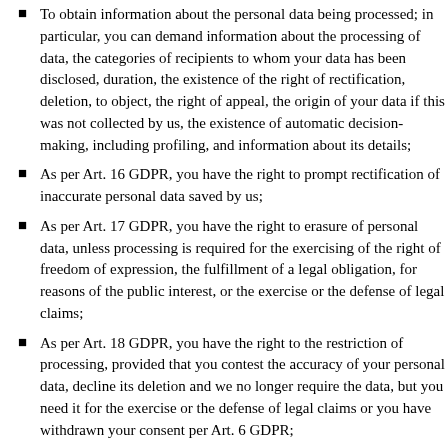To obtain information about the personal data being processed; in particular, you can demand information about the processing of data, the categories of recipients to whom your data has been disclosed, duration, the existence of the right of rectification, deletion, to object, the right of appeal, the origin of your data if this was not collected by us, the existence of automatic decision-making, including profiling, and information about its details;
As per Art. 16 GDPR, you have the right to prompt rectification of inaccurate personal data saved by us;
As per Art. 17 GDPR, you have the right to erasure of personal data, unless processing is required for the exercising of the right of freedom of expression, the fulfillment of a legal obligation, for reasons of the public interest, or the exercise or the defense of legal claims;
As per Art. 18 GDPR, you have the right to the restriction of processing, provided that you contest the accuracy of your personal data, decline its deletion and we no longer require the data, but you need it for the exercise or the defense of legal claims or you have withdrawn your consent per Art. 6 GDPR;
As per Art. 20 GDPR, you have the right to obtain your personal data...